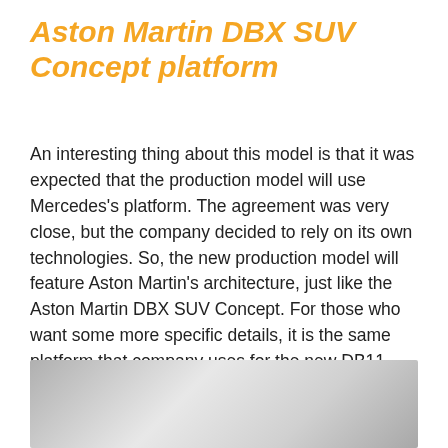Aston Martin DBX SUV Concept platform
An interesting thing about this model is that it was expected that the production model will use Mercedes's platform. The agreement was very close, but the company decided to rely on its own technologies. So, the new production model will feature Aston Martin's architecture, just like the Aston Martin DBX SUV Concept. For those who want some more specific details, it is the same platform that company uses for the new DB11 Coupe. Of course, engineers made some modifications, to make it more appropriate for the SUV, but the core is pretty much the same. So, the new body and chassis will include a massive use of aluminum and some other light materials. This should provide some necessary weight savings, crucial in the segment for luxury cars.
[Figure (photo): Partial view of the Aston Martin DBX SUV concept, showing a silver/grey metallic surface.]